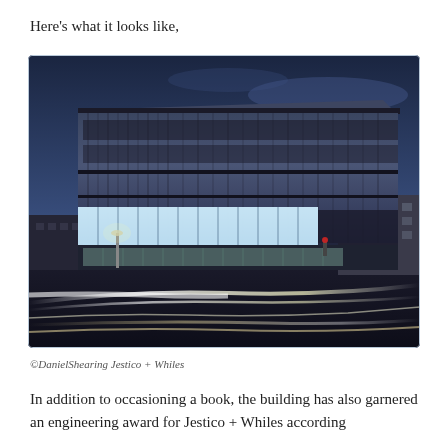Here's what it looks like,
[Figure (photo): Exterior night/dusk photograph of a large modern building with a dark metallic/glass facade, featuring illuminated lower floors with full-height glazing. Light trails from passing vehicles visible in the foreground street. Adjacent brick buildings visible to the right. Blue dusk sky in background.]
©DanielShearing Jestico + Whiles
In addition to occasioning a book, the building has also garnered an engineering award for Jestico + Whiles according